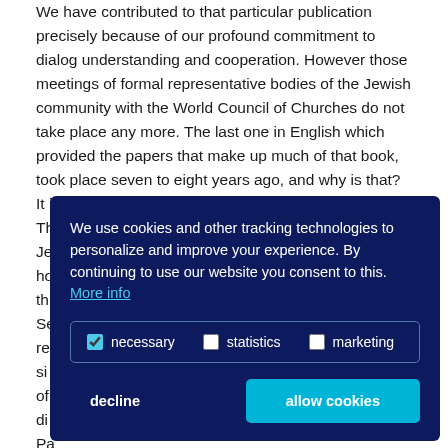We have contributed to that particular publication precisely because of our profound commitment to dialog understanding and cooperation. However those meetings of formal representative bodies of the Jewish community with the World Council of Churches do not take place any more. The last one in English which provided the papers that make up much of that book, took place seven to eight years ago, and why is that? It is because there has been a breakdown in trust. There has been a sense of alienation which on the Jewish side ha... ho... th... Se... re... si... of... di... Pa... ad... Je... contrary, that will simply lead to a greater withdrawal;
[Figure (other): Cookie consent overlay with dark navy background. Text reads: 'We use cookies and other tracking technologies to personalize and improve your experience. By continuing to use our website you consent to this. More info'. Below are three checkbox options: necessary (checked), statistics (unchecked), marketing (unchecked). Two buttons at bottom: 'decline' (text only) and 'allow cookies' (cyan/teal button).]